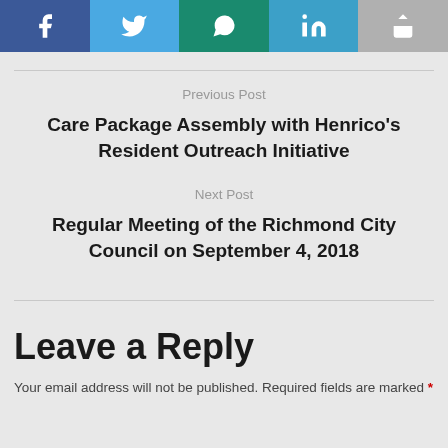[Figure (other): Social share buttons row: Facebook, Twitter, WhatsApp, LinkedIn, Share]
Previous Post
Care Package Assembly with Henrico's Resident Outreach Initiative
Next Post
Regular Meeting of the Richmond City Council on September 4, 2018
Leave a Reply
Your email address will not be published. Required fields are marked *